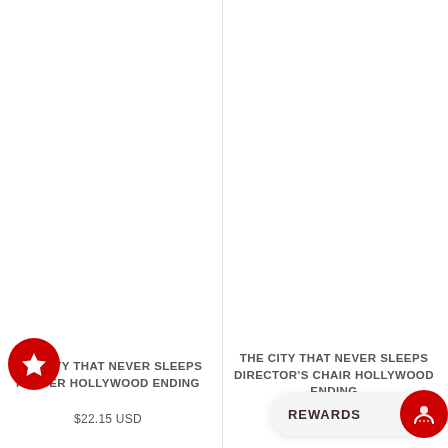[Figure (screenshot): Heart/wishlist icon for left product]
[Figure (screenshot): Heart/wishlist icon for right product]
THE CITY THAT NEVER SLEEPS POSTER HOLLYWOOD ENDING
$22.15 USD
THE CITY THAT NEVER SLEEPS DIRECTOR'S CHAIR HOLLYWOOD ENDING
$173.73 USD
REWARDS